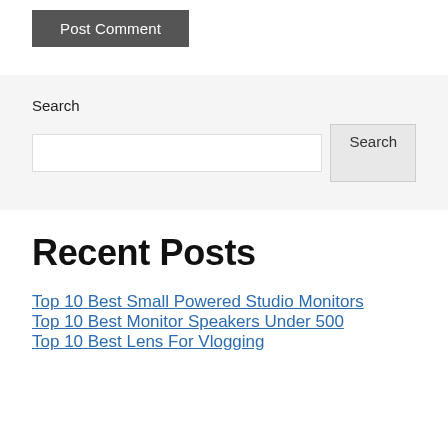Post Comment
Search
Recent Posts
Top 10 Best Small Powered Studio Monitors
Top 10 Best Monitor Speakers Under 500
Top 10 Best Lens For Vlogging